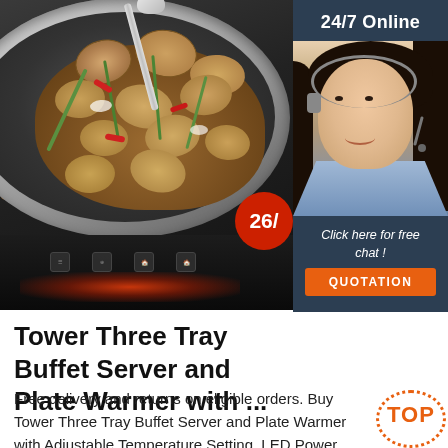[Figure (photo): Product photo of a stainless steel wok/pan with clams and vegetables being cooked on an induction cooktop, with a ladle resting in the pan. A red badge shows '26/' partially visible.]
[Figure (photo): 24/7 Online customer support sidebar panel with a dark blue background, showing a female customer service agent wearing a headset and smiling, with text 'Click here for free chat!' and an orange QUOTATION button.]
Tower Three Tray Buffet Server and Plate Warmer with ...
Free delivery and returns on eligible orders. Buy Tower Three Tray Buffet Server and Plate Warmer with Adjustable Temperature Setting, LED Power Indicator, Cool Touch Handles, 3 x